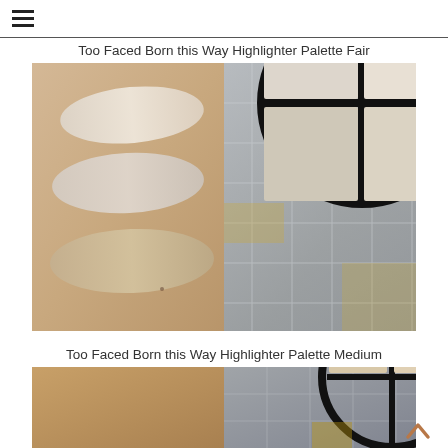Too Faced Born this Way Highlighter Palette Fair
[Figure (photo): Two side-by-side photos: left shows arm swatches of light highlighter shades, right shows Too Faced Born this Way Highlighter Palette Fair product]
Too Faced Born this Way Highlighter Palette Medium
[Figure (photo): Partial view of arm swatches and palette for Too Faced Born this Way Highlighter Palette Medium]